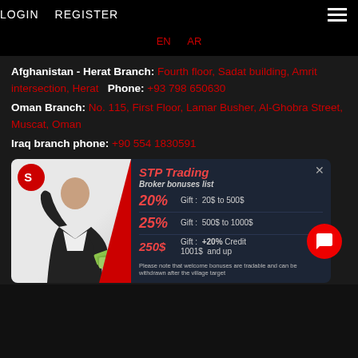LOGIN   REGISTER
EN   AR
Afghanistan - Herat Branch: Fourth floor, Sadat building, Amrit intersection, Herat   Phone: +93 798 650630
Oman Branch:  No. 115, First Floor, Lamar Busher, Al-Ghobra Street, Muscat, Oman
Iraq branch phone:  +90 554 1830591
[Figure (infographic): STP Trading promotional card showing broker bonuses list: 20% Gift 20$ to 500$, 25% Gift 500$ to 1000$, 250$ Gift +20% Credit 1001$ and up. Includes a man with cash fan image and STP logo. Note: Please note that welcome bonuses are tradable and can be withdrawn after the village target.]